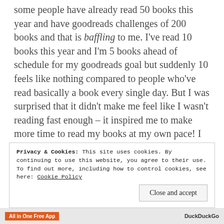some people have already read 50 books this year and have goodreads challenges of 200 books and that is baffling to me. I've read 10 books this year and I'm 5 books ahead of schedule for my goodreads goal but suddenly 10 feels like nothing compared to people who've read basically a book every single day. But I was surprised that it didn't make me feel like I wasn't reading fast enough – it inspired me to make more time to read my books at my own pace! I don't have the time or energy to read a book every two days – I'm not someone who enjoys reading in the morning or on my
Privacy & Cookies: This site uses cookies. By continuing to use this website, you agree to their use.
To find out more, including how to control cookies, see here: Cookie Policy
Close and accept